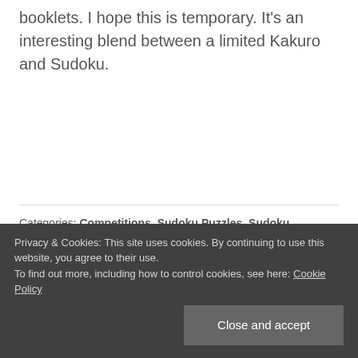booklets. I hope this is temporary. It’s an interesting blend between a limited Kakuro and Sudoku.
Categories: Competitions, Sudoku Puzzles, Sudoku Variants, Varieties of Sudoku, Web Comics
Posted on March 18, 2007 by arkay
March 2007 Wo...
Privacy & Cookies: This site uses cookies. By continuing to use this website, you agree to their use. To find out more, including how to control cookies, see here: Cookie Policy